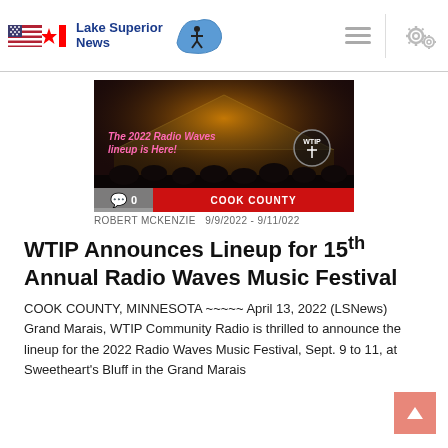Lake Superior News
[Figure (photo): Festival stage at night with colorful lights and crowd; text overlay reads 'The 2022 Radio Waves lineup is Here!' with WTIP logo badge; bottom bar shows comment count (0) and COOK COUNTY label]
ROBERT MCKENZIE  9/9/2022 - 9/11/022
WTIP Announces Lineup for 15th Annual Radio Waves Music Festival
COOK COUNTY, MINNESOTA ~~~~~ April 13, 2022 (LSNews)  Grand Marais, WTIP Community Radio is thrilled to announce the lineup for the 2022 Radio Waves Music Festival, Sept. 9 to 11, at Sweetheart's Bluff in the Grand Marais